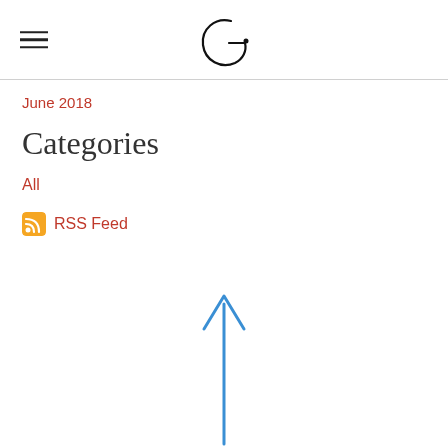G (logo)
June 2018
Categories
All
RSS Feed
[Figure (illustration): A blue upward-pointing arrow, tall and narrow, centered on the page]